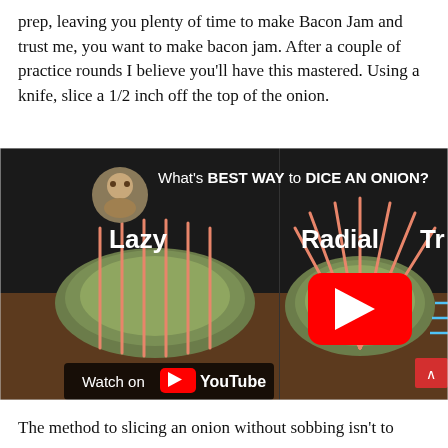prep, leaving you plenty of time to make Bacon Jam and trust me, you want to make bacon jam. After a couple of practice rounds I believe you'll have this mastered. Using a knife, slice a 1/2 inch off the top of the onion.
[Figure (screenshot): YouTube video thumbnail showing 'What's BEST WAY to DICE AN ONION?' with Lazy and Radial cutting methods demonstrated on onions, with YouTube play button overlay and 'Watch on YouTube' label]
The method to slicing an onion without sobbing isn't to